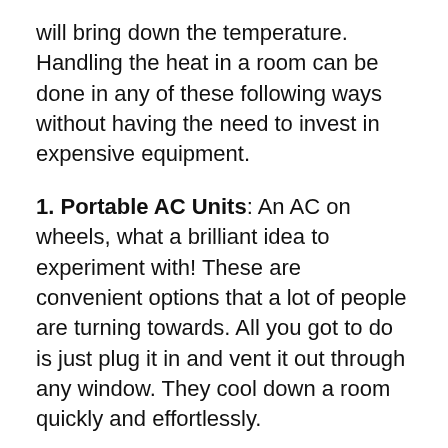will bring down the temperature. Handling the heat in a room can be done in any of these following ways without having the need to invest in expensive equipment.
1. Portable AC Units: An AC on wheels, what a brilliant idea to experiment with! These are convenient options that a lot of people are turning towards. All you got to do is just plug it in and vent it out through any window. They cool down a room quickly and effortlessly.
2. Window Unit: Air conditioning window units are another smart option. All you need is a window where you can attach it; this light air conditioning window unit will drain the water outside while cooling the